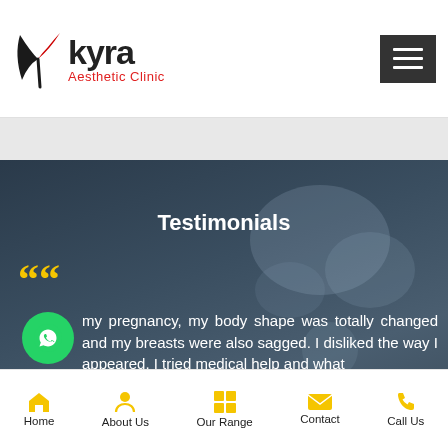[Figure (logo): Kyra Aesthetic Clinic logo with stylized bird/wing mark in black and red]
[Figure (other): Hamburger menu icon button (three white lines on dark background)]
Testimonials
““
[Figure (other): WhatsApp green circular button with phone icon]
my pregnancy, my body shape was totally changed and my breasts were also sagged. I disliked the way I appeared. I tried medical help and what ...en I found the best solution at Kyra Aesthetic Clinic in Ludhiana... I
[Figure (other): Book an Appointment dark rounded bar with yellow email icon]
[Figure (other): Yellow circular up-arrow button]
Home | About Us | Our Range | Contact | Call Us